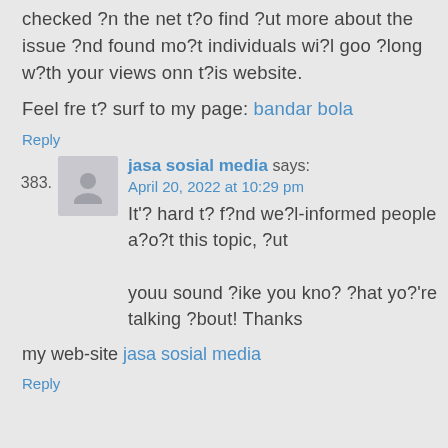checked ?n the net t?o find ?ut more about the issue ?nd found mo?t individuals wi?l goo ?long w?th your views onn t?is website.
Feel fre t? surf to my page: bandar bola
Reply
383. jasa sosial media says: April 20, 2022 at 10:29 pm It'? hard t? f?nd we?l-informed people a?o?t this topic, ?ut youu sound ?ike you kno? ?hat yo?'re talking ?bout! Thanks my web-site jasa sosial media Reply